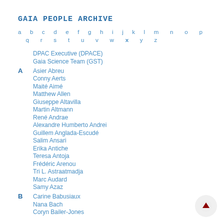GAIA PEOPLE ARCHIVE
a b c d e f g h i j k l m n o p q r s t u v w x y z
DPAC Executive (DPACE)
Gaia Science Team (GST)
A  Asier Abreu
Conny Aerts
Maité Aimé
Matthew Allen
Giuseppe Altavilla
Martin Altmann
René Andrae
Alexandre Humberto Andrei
Guillem Anglada-Escudé
Salim Ansari
Erika Antiche
Teresa Antoja
Frédéric Arenou
Tri L. Astraatmadja
Marc Audard
Samy Azaz
B  Carine Babusiaux
Nana Bach
Coryn Bailer-Jones